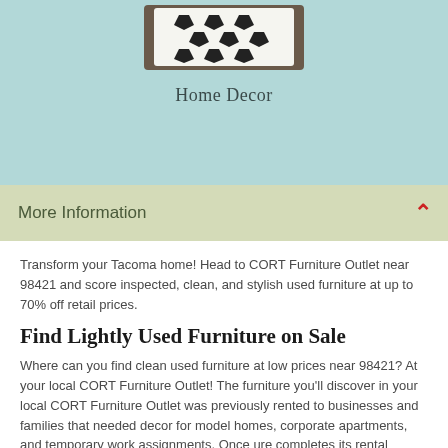[Figure (photo): Decorative pillow with black geometric pattern on white background, partially visible at top of card]
Home Decor
More Information
Transform your Tacoma home! Head to CORT Furniture Outlet near 98421 and score inspected, clean, and stylish used furniture at up to 70% off retail prices.
Find Lightly Used Furniture on Sale
Where can you find clean used furniture at low prices near 98421? At your local CORT Furniture Outlet! The furniture you'll discover in your local CORT Furniture Outlet was previously rented to businesses and families that needed decor for model homes, corporate apartments, and temporary work assignments. Once ure completes its rental lifecycle, you get clearance prices on -date furnishings like stylish sectionals, matching table lam and statement decor. Plus, shen our get too much of an item, you'll